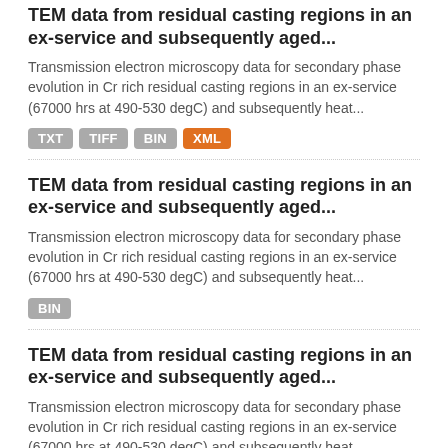TEM data from residual casting regions in an ex-service and subsequently aged...
Transmission electron microscopy data for secondary phase evolution in Cr rich residual casting regions in an ex-service (67000 hrs at 490-530 degC) and subsequently heat...
TXT  TIFF  BIN  XML
TEM data from residual casting regions in an ex-service and subsequently aged...
Transmission electron microscopy data for secondary phase evolution in Cr rich residual casting regions in an ex-service (67000 hrs at 490-530 degC) and subsequently heat...
BIN
TEM data from residual casting regions in an ex-service and subsequently aged...
Transmission electron microscopy data for secondary phase evolution in Cr rich residual casting regions in an ex-service (67000 hrs at 490-530 degC) and subsequently heat...